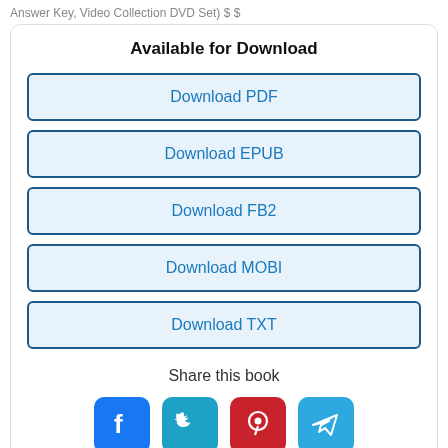Answer Key, Video Collection DVD Set) $ $
Available for Download
Download PDF
Download EPUB
Download FB2
Download MOBI
Download TXT
Share this book
[Figure (infographic): Four social media share buttons: Facebook (blue), Twitter (teal), Pinterest (red), Telegram (blue)]